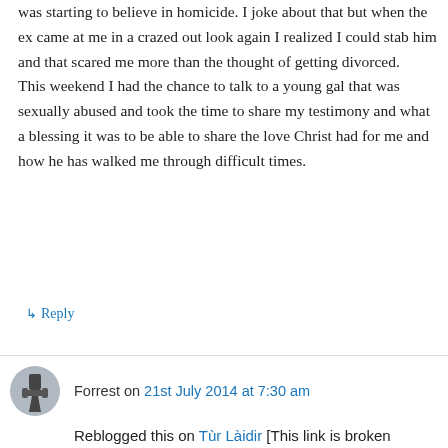was starting to believe in homicide. I joke about that but when the ex came at me in a crazed out look again I realized I could stab him and that scared me more than the thought of getting divorced.
This weekend I had the chance to talk to a young gal that was sexually abused and took the time to share my testimony and what a blessing it was to be able to share the love Christ had for me and how he has walked me through difficult times.
↳ Reply
Forrest on 21st July 2014 at 7:30 am
Reblogged this on Tùr Làidir [This link is broken